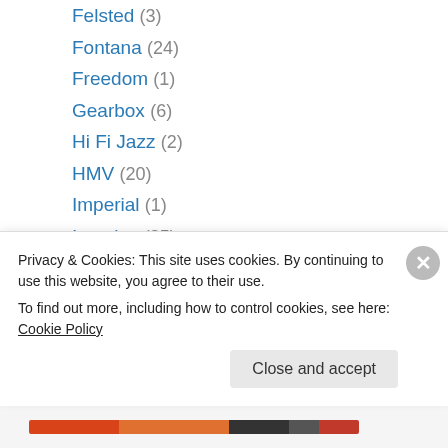Felsted (3)
Fontana (24)
Freedom (1)
Gearbox (6)
Hi Fi Jazz (2)
HMV (20)
Imperial (1)
Impulse (35)
India Navigation (1)
Inner City (1)
Interlude (2)
Jasmine (2)
Jazz West (1)
Jazzland (11)
Privacy & Cookies: This site uses cookies. By continuing to use this website, you agree to their use. To find out more, including how to control cookies, see here: Cookie Policy